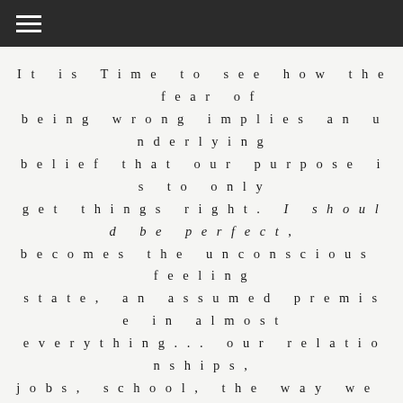≡
It is Time to see how the fear of being wrong implies an underlying belief that our purpose is to only get things right. I should be perfect, becomes the unconscious feeling state, an assumed premise in almost everything... our relationships, jobs, school, the way we learn and even in our play.
We are often looking to meet an external set of standards, instead of using our own internal values,